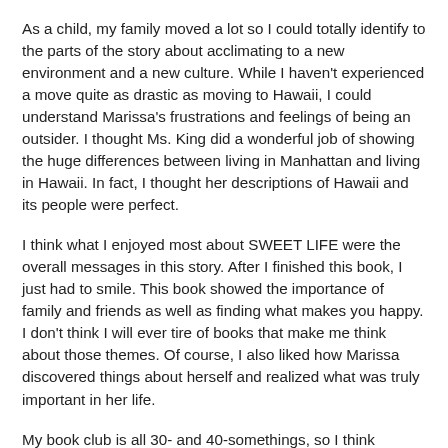As a child, my family moved a lot so I could totally identify to the parts of the story about acclimating to a new environment and a new culture. While I haven't experienced a move quite as drastic as moving to Hawaii, I could understand Marissa's frustrations and feelings of being an outsider. I thought Ms. King did a wonderful job of showing the huge differences between living in Manhattan and living in Hawaii. In fact, I thought her descriptions of Hawaii and its people were perfect.
I think what I enjoyed most about SWEET LIFE were the overall messages in this story. After I finished this book, I just had to smile. This book showed the importance of family and friends as well as finding what makes you happy. I don't think I will ever tire of books that make me think about those themes. Of course, I also liked how Marissa discovered things about herself and realized what was truly important in her life.
My book club is all 30- and 40-somethings, so I think SWEET LIFE would be a great discussion book for my group. I think many women will relate to at least some